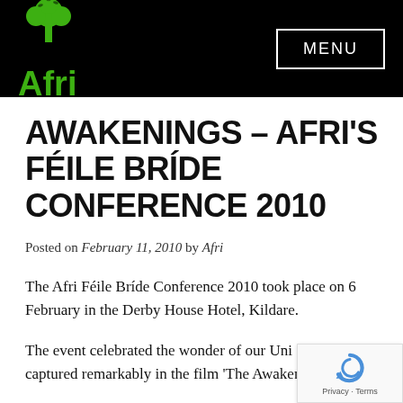Afri | MENU
AWAKENINGS – AFRI'S FÉILE BRÍDE CONFERENCE 2010
Posted on February 11, 2010 by Afri
The Afri Féile Bríde Conference 2010 took place on 6 February in the Derby House Hotel, Kildare.
The event celebrated the wonder of our Uni… captured remarkably in the film 'The Awakening